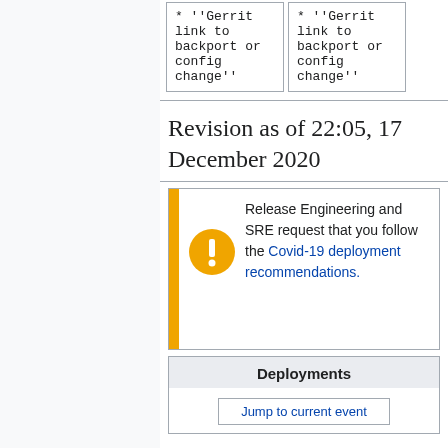* ''Gerrit link to backport or config change''
* ''Gerrit link to backport or config change''
Revision as of 22:05, 17 December 2020
Release Engineering and SRE request that you follow the Covid-19 deployment recommendations.
Deployments
Jump to current event